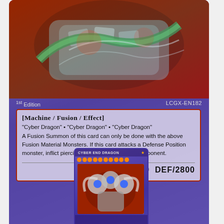[Figure (illustration): Close-up of a Yu-Gi-Oh! trading card: Cyber End Dragon, LCGX-EN182, 1st Edition. Shows the card art (metallic dragon creature on dark red background), monster type [Machine/Fusion/Effect], fusion materials, effect text, ATK/4000 DEF/2800, card number 01546123, copyright 1996 Kazuki Takahashi.]
1st Edition
LCGX-EN182
[Machine / Fusion / Effect]
"Cyber Dragon" • "Cyber Dragon" • "Cyber Dragon"
A Fusion Summon of this card can only be done with the above Fusion Material Monsters. If this card attacks a Defense Position monster, inflict piercing Battle Damage to your opponent.
ATK/4000  DEF/2800
01546123
©1996 KAZUKI TAKAHASHI
[Figure (illustration): Small thumbnail of the full Cyber End Dragon Yu-Gi-Oh! card showing the complete card with name, stars, artwork of a three-headed mechanical dragon, and the purple card border.]